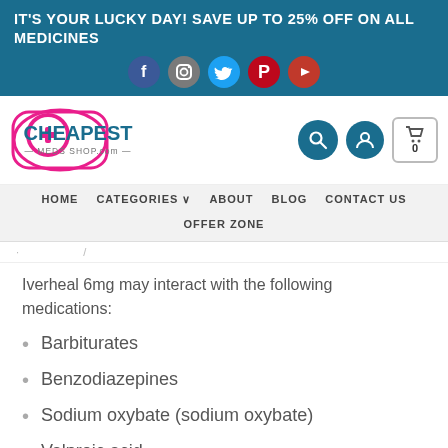IT'S YOUR LUCKY DAY! SAVE UP TO 25% OFF ON ALL MEDICINES
Iverheal 6mg may interact with the following medications:
Barbiturates
Benzodiazepines
Sodium oxybate (sodium oxybate)
Valproic acid